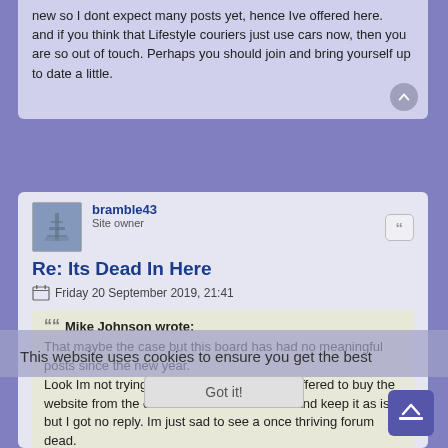new so I dont expect many posts yet, hence Ive offered here.
and if you think that Lifestyle couriers just use cars now, then you are so out of touch. Perhaps you should join and bring yourself up to date a little.
bramble43
Site owner
Re: Its Dead In Here
Friday 20 September 2019, 21:41
Mike Johnson wrote:
That maybe the case but this board has had no meaningful posts since the new year.
Look Im not trying to steal your members, I offered to buy the website from the owner so I could refresh it and keep it as is, but I got no reply. Im just sad to see a once thriving forum dead.
I offered space on another forum to give members somewhere to go. It a forum thats been running
This website uses cookies to ensure you get the best
Got it!